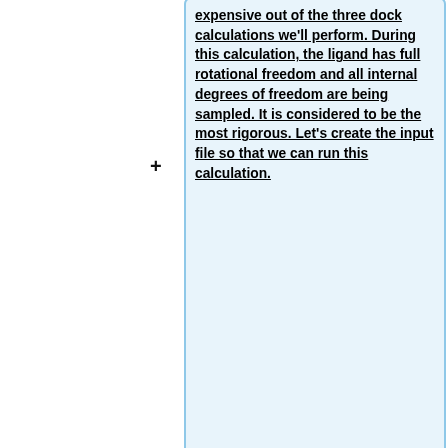expensive out of the three dock calculations we'll perform. During this calculation, the ligand has full rotational freedom and all internal degrees of freedom are being sampled. It is considered to be the most rigorous. Let's create the input file so that we can run this calculation.
conformer_search_type
flex
write_fragment_libraries
no
user_specified_anchor
no